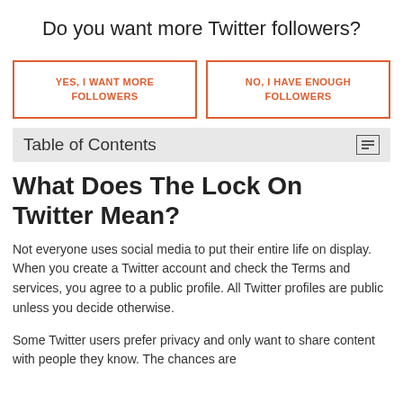Do you want more Twitter followers?
[Figure (other): Two call-to-action buttons side by side. Left button: 'YES, I WANT MORE FOLLOWERS' (orange border and text). Right button: 'NO, I HAVE ENOUGH FOLLOWERS' (orange border and text).]
Table of Contents
What Does The Lock On Twitter Mean?
Not everyone uses social media to put their entire life on display. When you create a Twitter account and check the Terms and services, you agree to a public profile. All Twitter profiles are public unless you decide otherwise.
Some Twitter users prefer privacy and only want to share content with people they know. The chances are